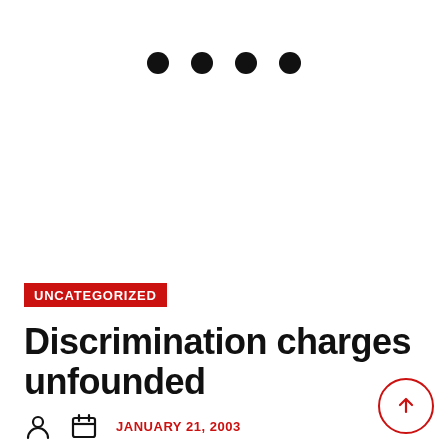[Figure (other): Four decorative dots/bullets in a row, navigation indicator]
UNCATEGORIZED
Discrimination charges unfounded
JANUARY 21, 2003